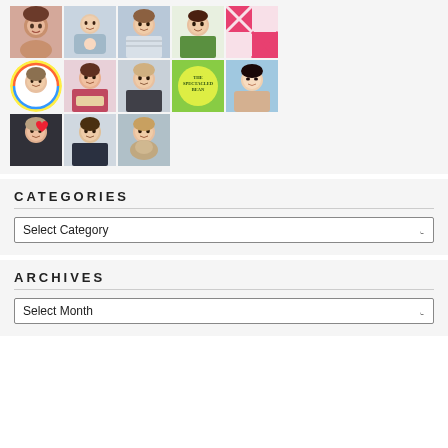[Figure (photo): Grid of profile photos/avatars arranged in 3 rows]
CATEGORIES
Select Category
ARCHIVES
Select Month